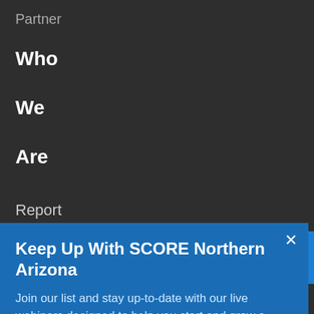Partner
Who
We
Are
Keep Up With SCORE Northern Arizona
Join our list and stay up-to-date with our live webinars designed to help you start and grow a successful business.
email address
SUBMIT
Report
Media
Resources
Foundation